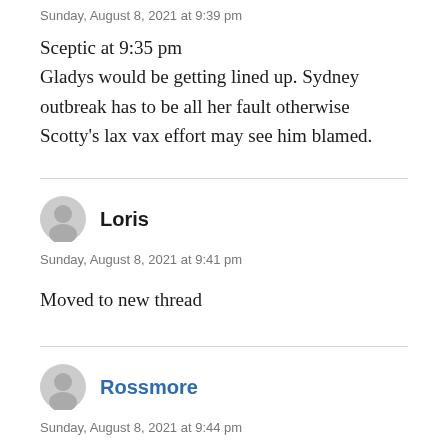Sunday, August 8, 2021 at 9:39 pm
Sceptic at 9:35 pm
Gladys would be getting lined up. Sydney outbreak has to be all her fault otherwise Scotty's lax vax effort may see him blamed.
Loris
Sunday, August 8, 2021 at 9:41 pm
Moved to new thread
Rossmore
Sunday, August 8, 2021 at 9:44 pm